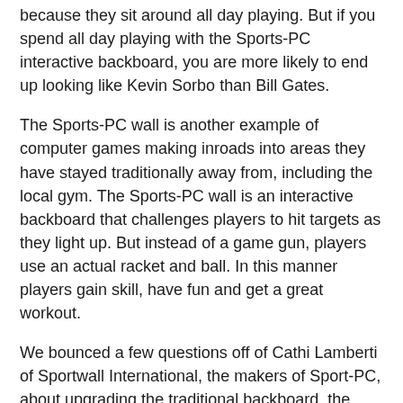because they sit around all day playing. But if you spend all day playing with the Sports-PC interactive backboard, you are more likely to end up looking like Kevin Sorbo than Bill Gates.
The Sports-PC wall is another example of computer games making inroads into areas they have stayed traditionally away from, including the local gym. The Sports-PC wall is an interactive backboard that challenges players to hit targets as they light up. But instead of a game gun, players use an actual racket and ball. In this manner players gain skill, have fun and get a great workout.
We bounced a few questions off of Cathi Lamberti of Sportwall International, the makers of Sport-PC, about upgrading the traditional backboard, the importance of entertaining users with any task and how they found a niche market with so much potential.
Sportwall International – http://www.sportwall.com